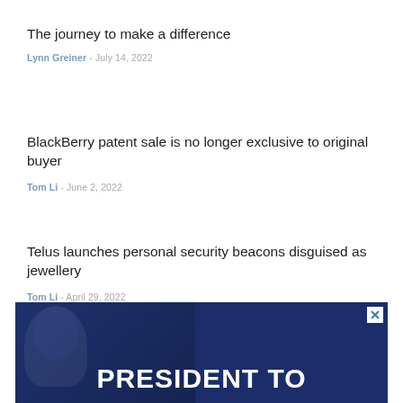The journey to make a difference
Lynn Greiner - July 14, 2022
BlackBerry patent sale is no longer exclusive to original buyer
Tom Li - June 2, 2022
Telus launches personal security beacons disguised as jewellery
Tom Li - April 29, 2022
[Figure (photo): Advertisement banner with dark blue background showing a partial silhouette figure and bold white text reading 'PRESIDENT TO']